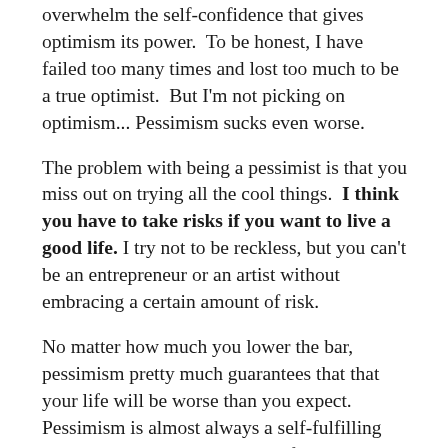overwhelm the self-confidence that gives optimism its power.  To be honest, I have failed too many times and lost too much to be a true optimist.  But I'm not picking on optimism... Pessimism sucks even worse.
The problem with being a pessimist is that you miss out on trying all the cool things.  I think you have to take risks if you want to live a good life. I try not to be reckless, but you can't be an entrepreneur or an artist without embracing a certain amount of risk.
No matter how much you lower the bar, pessimism pretty much guarantees that that your life will be worse than you expect.  Pessimism is almost always a self-fulfilling prophecy, because just the act of thinking pessimistic thoughts makes any situation feel worse than it is.